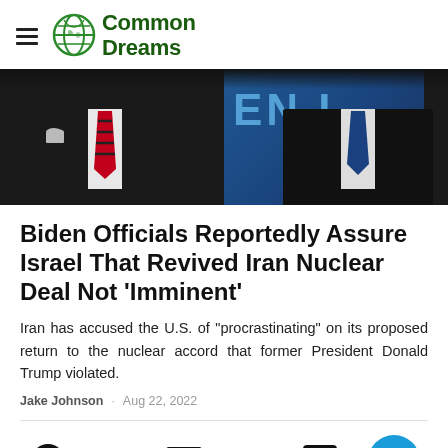Common Dreams
[Figure (photo): Two men in dark suits visible from the chest down, one with a red striped tie on the left, one with a blue tie on the right, with a blue background partially visible showing partial text 'EN']
Biden Officials Reportedly Assure Israel That Revived Iran Nuclear Deal Not 'Imminent'
Iran has accused the U.S. of "procrastinating" on its proposed return to the nuclear accord that former President Donald Trump violated.
Jake Johnson · Aug 22, 2022